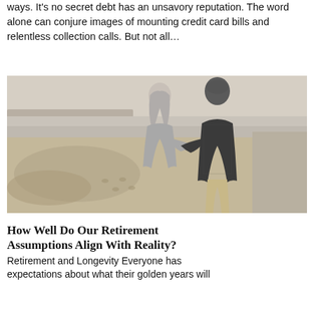ways. It's no secret debt has an unsavory reputation. The word alone can conjure images of mounting credit card bills and relentless collection calls. But not all...
[Figure (photo): An older couple walking arm in arm on a beach, viewed from behind. The woman has long grey hair and is wearing a grey wrap; the man is wearing a dark patterned jacket. Sandy beach with footprints and ocean visible in background.]
How Well Do Our Retirement Assumptions Align With Reality?
Retirement and Longevity Everyone has expectations about what their golden years will